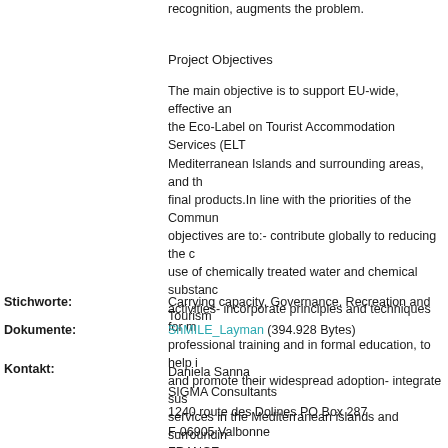recognition, augments the problem.
Project Objectives
The main objective is to support EU-wide, effective and the Eco-Label on Tourist Accommodation Services (ELT Mediterranean Islands and surrounding areas, and th final products.In line with the priorities of the Commun objectives are to:- contribute globally to reducing the use of chemically treated water and chemical substance activities- incorporate principles and techniques for m professional training and in formal education, to help and promote their widespread adoption- integrate su services in the Mediterranean islands and surroundin local awareness and know-how on sustainable issues plan in a broad perspective
Stichworte: Carrying capacity, Governance, Recreation and Tourism
Dokumente: ShMILE_Layman (394.928 Bytes)
Kontakt: Daniela Sanna
SIGMA Consultants
1240 route des Dolines PO Box 287
F-06905 Valbonne
FRANCE